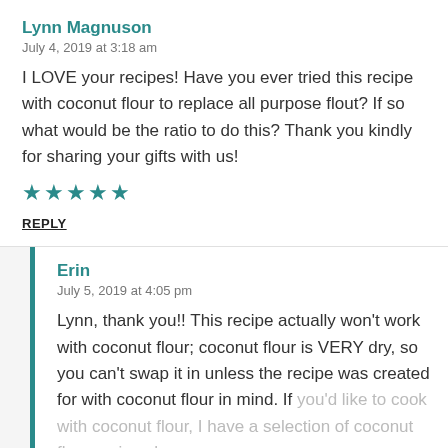Lynn Magnuson
July 4, 2019 at 3:18 am
I LOVE your recipes! Have you ever tried this recipe with coconut flour to replace all purpose flout? If so what would be the ratio to do this? Thank you kindly for sharing your gifts with us!
[Figure (other): Five gold/teal stars rating]
REPLY
Erin
July 5, 2019 at 4:05 pm
Lynn, thank you!! This recipe actually won't work with coconut flour; coconut flour is VERY dry, so you can't swap it in unless the recipe was created for with coconut flour in mind. If you'd like to cook with coconut flour, I have a selection of coconut flour recipes here: